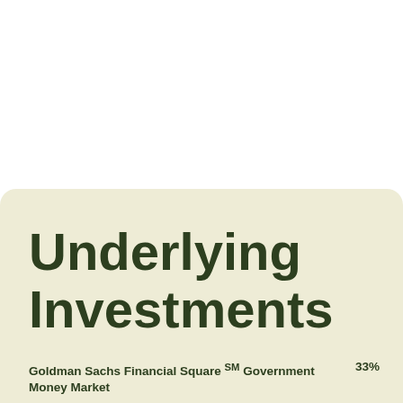Underlying Investments
Goldman Sachs Financial Square℠ Government Money Market    33%